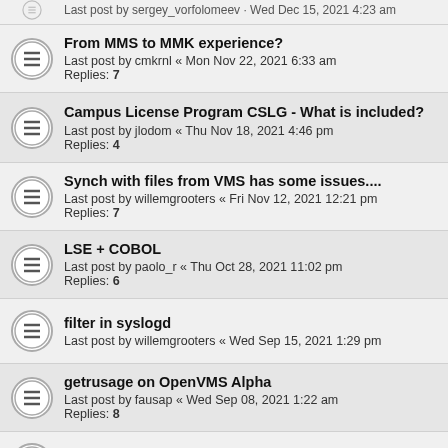From MMS to MMK experience?
Last post by cmkrnl « Mon Nov 22, 2021 6:33 am
Replies: 7
Campus License Program CSLG - What is included?
Last post by jlodom « Thu Nov 18, 2021 4:46 pm
Replies: 4
Synch with files from VMS has some issues....
Last post by willemgrooters « Fri Nov 12, 2021 12:21 pm
Replies: 7
LSE + COBOL
Last post by paolo_r « Thu Oct 28, 2021 11:02 pm
Replies: 6
filter in syslogd
Last post by willemgrooters « Wed Sep 15, 2021 1:29 pm
getrusage on OpenVMS Alpha
Last post by fausap « Wed Sep 08, 2021 1:22 am
Replies: 8
VMS IDE v 1.5.45 has been released
Last post by sergey_vorfolomeev « Fri Aug 27, 2021 12:01 am